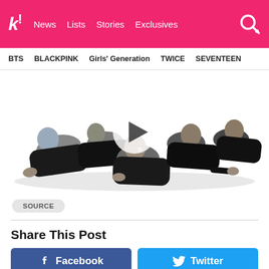k! News Lists Stories Exclusives
BTS BLACKPINK Girls' Generation TWICE SEVENTEEN
[Figure (photo): Group of young men in black leather jackets lying on a white floor, with a video play button overlay in the center.]
SOURCE
Share This Post
Facebook
Twitter